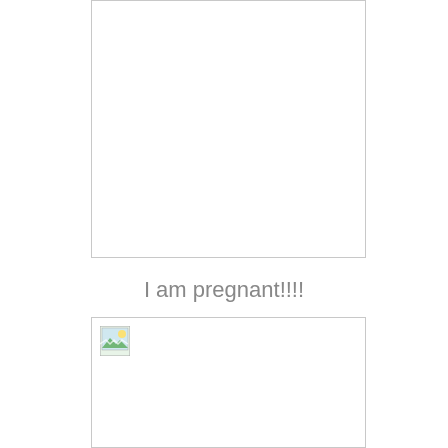[Figure (photo): Empty white image box with light gray border, upper portion of page]
I am pregnant!!!!
[Figure (photo): Image box with broken image icon in top-left corner, lower portion of page]